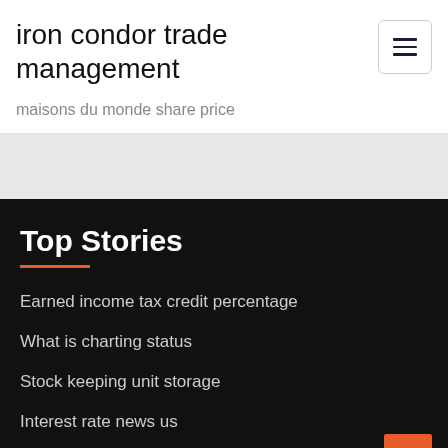iron condor trade management
maisons du monde share price
Top Stories
Earned income tax credit percentage
What is charting status
Stock keeping unit storage
Interest rate news us
Contracts house buying